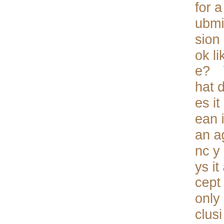for a submission look like? What does it mean if an agency says it accepts only exclusive submissions? What does it